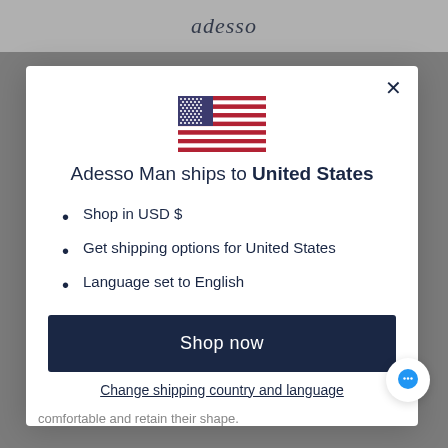adesso
[Figure (illustration): US flag SVG illustration inside a modal dialog]
Adesso Man ships to United States
Shop in USD $
Get shipping options for United States
Language set to English
Shop now
Change shipping country and language
comfortable and retain their shape.